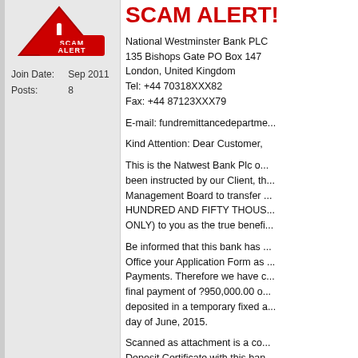[Figure (logo): Scam Alert logo with red triangle and exclamation mark]
Join Date: Sep 2011
Posts: 8
SCAM ALERT!
National Westminster Bank PLC
135 Bishops Gate PO Box 147
London, United Kingdom
Tel: +44 70318XXX82
Fax: +44 87123XXX79
E-mail: fundremittancedepartme...
Kind Attention: Dear Customer,
This is the Natwest Bank Plc o... been instructed by our Client, th... Management Board to transfer ... HUNDRED AND FIFTY THOUS... ONLY) to you as the true benefi...
Be informed that this bank has ... Office your Application Form as ... Payments. Therefore we have c... final payment of ?950,000.00 o... deposited in a temporary fixed a... day of June, 2015.
Scanned as attachment is a co... Deposit Certificate with this ban... go through it and it should be n... scanned copy and therefore ca...